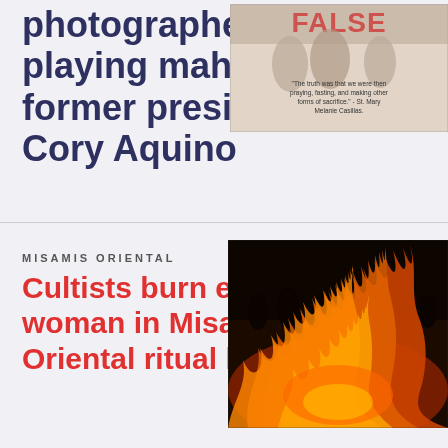photographed playing mahjong with former president Cory Aquino
[Figure (photo): Book or advertisement image with the word FALSE in red and an image of people, with a quote attributed to St. Mary Melanie Casillas]
[Figure (photo): Dark photograph of fire with silhouettes of people in the background]
MISAMIS ORIENTAL
Cultists burn elderly woman in Misamis Oriental ritual killing